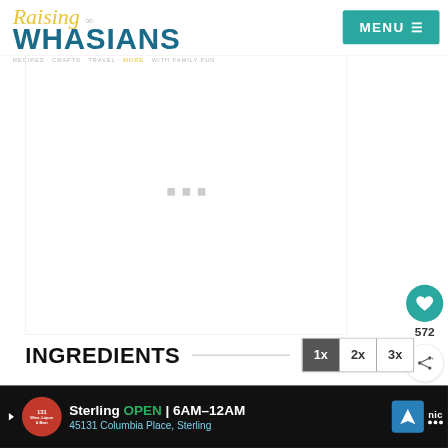[Figure (logo): Raising Whasians logo - yellow cursive 'Raising' text above bold teal 'WHASIANS' text with tagline 'RECIPES CRAFTS TRAVEL MORE WITH FAMILY FUN']
[Figure (screenshot): MENU button with hamburger icon on teal/cyan background in top right corner]
[Figure (screenshot): Large white content/ad placeholder area with three loading dots in center]
[Figure (screenshot): Teal circular heart/favorite button showing 572 saves, and share button below]
INGREDIENTS
[Figure (screenshot): Recipe multiplier buttons: 1x (active/dark), 2x, 3x]
[Figure (screenshot): Bottom advertisement bar: Sterling OPEN 6AM-12AM, 45131 Columbia Place, Sterling, with Wine Liquor & Beer logo and navigation icon]